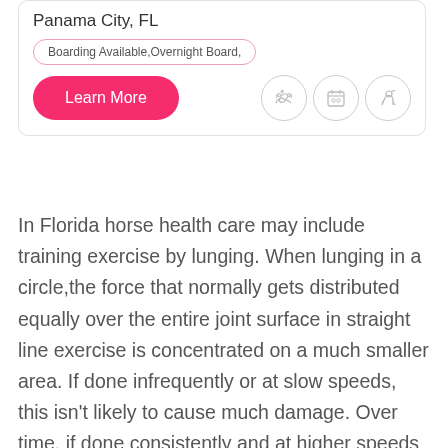Panama City, FL
Boarding Available,Overnight Board,
Learn More
[Figure (illustration): Three circular icon buttons with animal/calendar illustrations]
In Florida horse health care may include training exercise by lunging. When lunging in a circle,the force that normally gets distributed equally over the entire joint surface in straight line exercise is concentrated on a much smaller area. If done infrequently or at slow speeds, this isn't likely to cause much damage. Over time, if done consistently and at higher speeds will probably have some negative effects.Contact your veterinarian for more information.